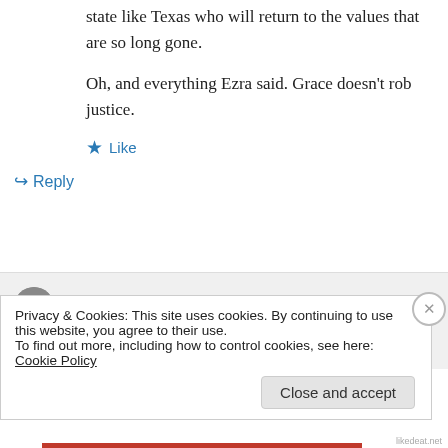state like Texas who will return to the values that are so long gone.
Oh, and everything Ezra said. Grace doesn't rob justice.
★ Like
↳ Reply
Ken on November 13, 2012 at 9:27 am
Privacy & Cookies: This site uses cookies. By continuing to use this website, you agree to their use.
To find out more, including how to control cookies, see here: Cookie Policy
Close and accept